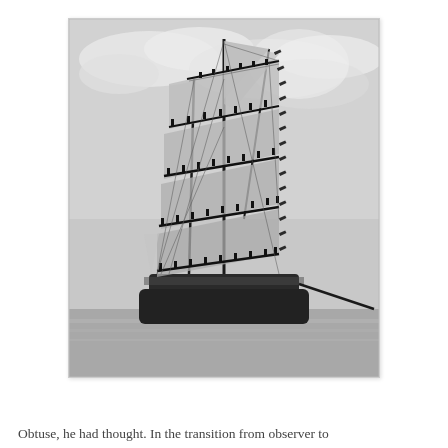[Figure (photo): Black and white photograph of a large tall ship (sailing vessel with multiple masts and many sails) on calm water. Numerous crew members are visible standing on the yardarms and rigging across all levels of the masts. The sky behind shows clouds. The ship is viewed from the front/bow perspective.]
Obtuse, he had thought. In the transition from observer to